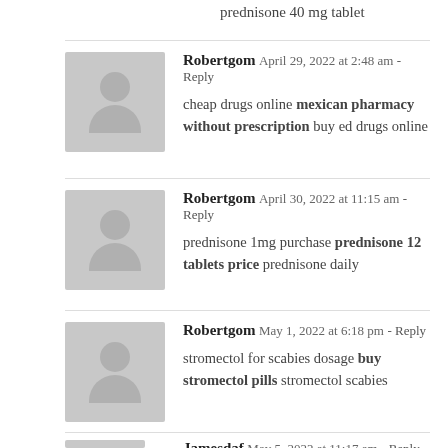prednisone 40 mg tablet
Robertgom  April 29, 2022 at 2:48 am - Reply
cheap drugs online mexican pharmacy without prescription buy ed drugs online
Robertgom  April 30, 2022 at 11:15 am - Reply
prednisone 1mg purchase prednisone 12 tablets price prednisone daily
Robertgom  May 1, 2022 at 6:18 pm - Reply
stromectol for scabies dosage buy stromectol pills stromectol scabies
Jamesdaf  May 5, 2022 at 11:17 am - Reply